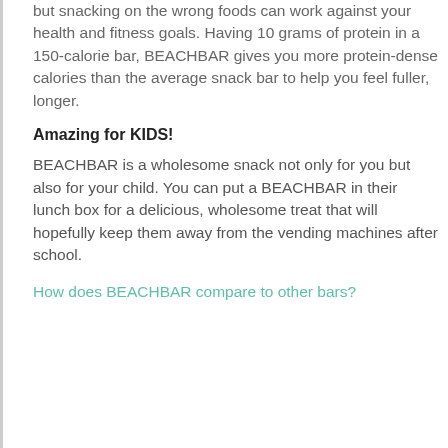but snacking on the wrong foods can work against your health and fitness goals. Having 10 grams of protein in a 150-calorie bar, BEACHBAR gives you more protein-dense calories than the average snack bar to help you feel fuller, longer.
Amazing for KIDS!
BEACHBAR is a wholesome snack not only for you but also for your child. You can put a BEACHBAR in their lunch box for a delicious, wholesome treat that will hopefully keep them away from the vending machines after school.
How does BEACHBAR compare to other bars?